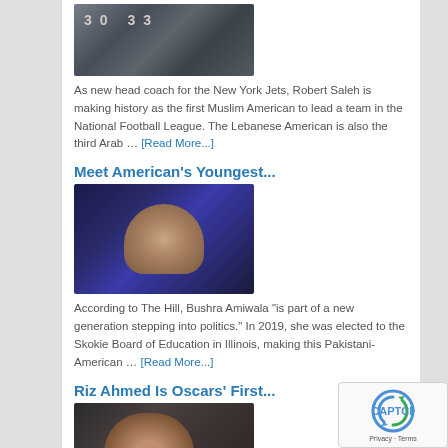[Figure (photo): Football players wearing jerseys numbered 30 and 33]
As new head coach for the New York Jets, Robert Saleh is making history as the first Muslim American to lead a team in the National Football League. The Lebanese American is also the third Arab … [Read More...]
Meet American's Youngest...
[Figure (photo): Woman in hijab speaking at a podium on a blue-lit stage]
According to The Hill, Bushra Amiwala "is part of a new generation stepping into politics." In 2019, she was elected to the Skokie Board of Education in Illinois, making this Pakistani-American … [Read More...]
Riz Ahmed Is Oscars' First...
[Figure (photo): Man with headphones in dark lighting — Riz Ahmed]
Riz Ahmed has become the first Muslim nominated for Best Actor in a Leading Role at the Academy Awards for Sound of